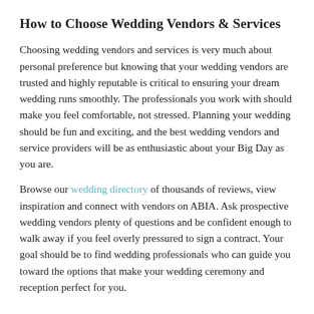How to Choose Wedding Vendors & Services
Choosing wedding vendors and services is very much about personal preference but knowing that your wedding vendors are trusted and highly reputable is critical to ensuring your dream wedding runs smoothly. The professionals you work with should make you feel comfortable, not stressed. Planning your wedding should be fun and exciting, and the best wedding vendors and service providers will be as enthusiastic about your Big Day as you are.
Browse our wedding directory of thousands of reviews, view inspiration and connect with vendors on ABIA. Ask prospective wedding vendors plenty of questions and be confident enough to walk away if you feel overly pressured to sign a contract. Your goal should be to find wedding professionals who can guide you toward the options that make your wedding ceremony and reception perfect for you.